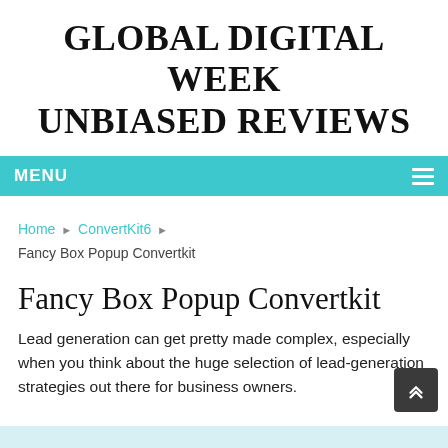GLOBAL DIGITAL WEEK UNBIASED REVIEWS
MENU
Home › ConvertKit6 › Fancy Box Popup Convertkit
Fancy Box Popup Convertkit
Lead generation can get pretty made complex, especially when you think about the huge selection of lead-generation strategies out there for business owners.